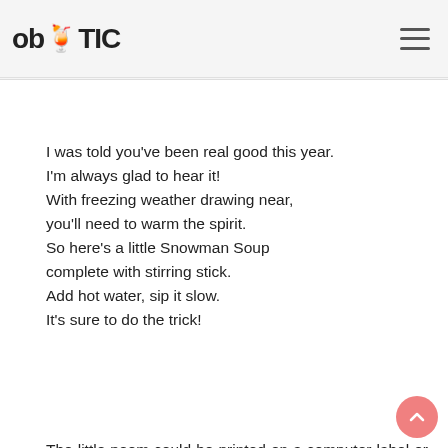ob TIC (logo with cocktail icon and hamburger menu)
I was told you've been real good this year.
I'm always glad to hear it!
With freezing weather drawing near,
you'll need to warm the spirit.
So here's a little Snowman Soup
complete with stirring stick.
Add hot water, sip it slow.
It's sure to do the trick!
The little poem could be printed on a computer label or nicely written or calligraphied with special pens, stickers,